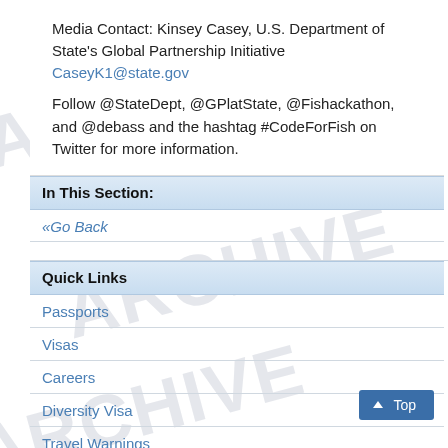Media Contact: Kinsey Casey, U.S. Department of State's Global Partnership Initiative CaseyK1@state.gov
Follow @StateDept, @GPlatState, @Fishackathon, and @debass and the hashtag #CodeForFish on Twitter for more information.
In This Section:
«Go Back
Quick Links
Passports
Visas
Careers
Diversity Visa
Travel Warnings
Per Diem Rates